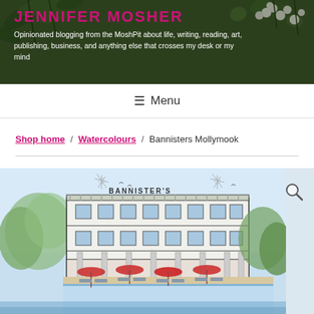JENNIFER MOSHER
Opinionated blogging from the MoshPit about life, writing, reading, art, publishing, business, and anything else that crosses my desk or my mind
☰ Menu
Shop home / Watercolours / Bannisters Mollymook
[Figure (illustration): Watercolour illustration of Bannister's hotel building with pool area featuring red umbrellas, lounge chairs, trees, and the text 'BANNISTER'S' on the facade. Sky with light blue wash, birds flying.]